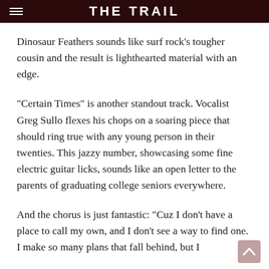THE TRAIL
Dinosaur Feathers sounds like surf rock’s tougher cousin and the result is lighthearted material with an edge.
“Certain Times” is another standout track. Vocalist Greg Sullo flexes his chops on a soaring piece that should ring true with any young person in their twenties. This jazzy number, showcasing some fine electric guitar licks, sounds like an open letter to the parents of graduating college seniors everywhere.
And the chorus is just fantastic: “Cuz I don’t have a place to call my own, and I don’t see a way to find one. I make so many plans that fall behind, but I